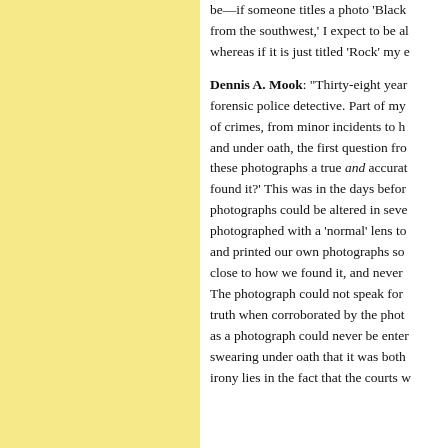be—if someone titles a photo 'Black from the southwest,' I expect to be al whereas if it is just titled 'Rock' my e
Dennis A. Mook: "Thirty-eight yea forensic police detective. Part of my of crimes, from minor incidents to h and under oath, the first question fro these photographs a true and accurat found it?' This was in the days befor photographs could be altered in seve photographed with a 'normal' lens to and printed our own photographs so close to how we found it, and never The photograph could not speak for truth when corroborated by the phot as a photograph could never be enter swearing under oath that it was both irony lies in the fact that the courts w